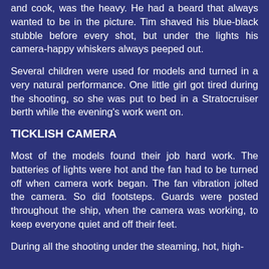and cook, was the heavy. He had a beard that always wanted to be in the picture. Tim shaved his blue-black stubble before every shot, but under the lights his camera-happy whiskers always peeped out.
Several children were used for models and turned in a very natural performance. One little girl got tired during the shooting, so she was put to bed in a Stratocruiser berth while the evening's work went on.
TICKLISH CAMERA
Most of the models found their job hard work. The batteries of lights were hot and the fan had to be turned off when camera work began. The fan vibration jolted the camera. So did footsteps. Guards were posted throughout the ship, when the camera was working, to keep everyone quiet and off their feet.
During all the shooting under the steaming, hot, high-